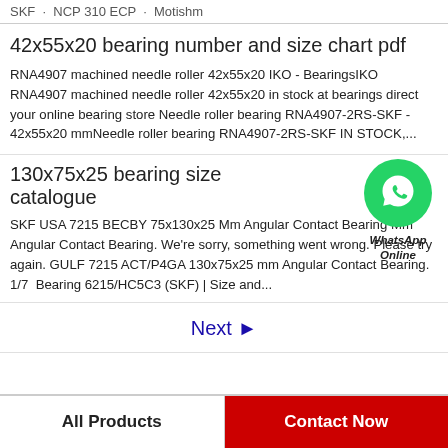SKF · NCP 310 ECP · Motishm
42x55x20 bearing number and size chart pdf
RNA4907 machined needle roller 42x55x20 IKO - BearingsIKO RNA4907 machined needle roller 42x55x20 in stock at bearings direct your online bearing store Needle roller bearing RNA4907-2RS-SKF - 42x55x20 mmNeedle roller bearing RNA4907-2RS-SKF IN STOCK,...
130x75x25 bearing size catalogue
[Figure (logo): WhatsApp Online green circle icon with phone handset, labeled WhatsApp Online]
SKF USA 7215 BECBY 75x130x25 Mm Angular Contact Bearing Mm Angular Contact Bearing. We're sorry, something went wrong. Please try again. GULF 7215 ACT/P4GA 130x75x25 mm Angular Contact Bearing. 1/7  Bearing 6215/HC5C3 (SKF) | Size and...
Next ►
All Products
Contact Now